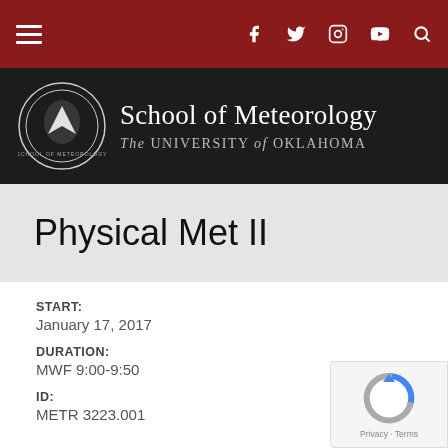School of Meteorology – The University of Oklahoma (navigation bar with hamburger menu, social icons, and search)
Physical Met II
START:
January 17, 2017
DURATION:
MWF 9:00-9:50
ID:
METR 3223.001